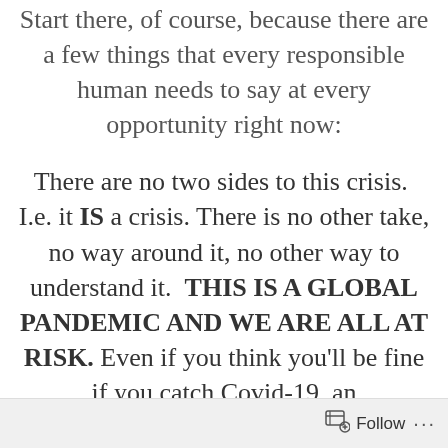Start there, of course, because there are a few things that every responsible human needs to say at every opportunity right now:
There are no two sides to this crisis.  I.e. it IS a crisis. There is no other take, no way around it, no other way to understand it.  THIS IS A GLOBAL PANDEMIC AND WE ARE ALL AT RISK. Even if you think you'll be fine if you catch Covid-19, an overwhelmed medical system isn't going to get to you if you break your leg or come down
Follow ···